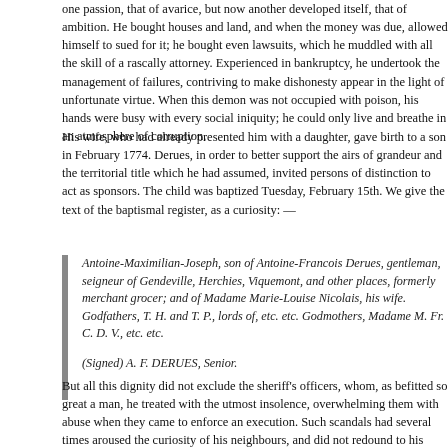one passion, that of avarice, but now another developed itself, that of ambition. He bought houses and land, and when the money was due, allowed himself to sued for it; he bought even lawsuits, which he muddled with all the skill of a rascally attorney. Experienced in bankruptcy, he undertook the management of failures, contriving to make dishonesty appear in the light of unfortunate virtue. When this demon was not occupied with poison, his hands were busy with every social iniquity; he could only live and breathe in an atmosphere of corruption.
His wife, who had already presented him with a daughter, gave birth to a son in February 1774. Derues, in order to better support the airs of grandeur and the territorial title which he had assumed, invited persons of distinction to act as sponsors. The child was baptized Tuesday, February 15th. We give the text of the baptismal register, as a curiosity: —
Antoine-Maximilian-Joseph, son of Antoine-Francois Derues, gentleman, seigneur of Gendeville, Herchies, Viquemont, and other places, formerly merchant grocer; and of Madame Marie-Louise Nicolais, his wife. Godfathers, T. H. and T. P., lords of, etc. etc. Godmothers, Madame M. Fr. C. D. V., etc. etc.

(Signed) A. F. DERUES, Senior.
But all this dignity did not exclude the sheriff's officers, whom, as befitted so great a man, he treated with the utmost insolence, overwhelming them with abuse when they came to enforce an execution. Such scandals had several times aroused the curiosity of his neighbours, and did not redound to his credit. His landlord, wearied of all this clamour, and most especially weary of never getting any rent without a fight for it, gave him notice to quit. Derues removed to the rue Beaubourg, where he continued to act as commission agent under the name of Cyrano Derues de Bury.